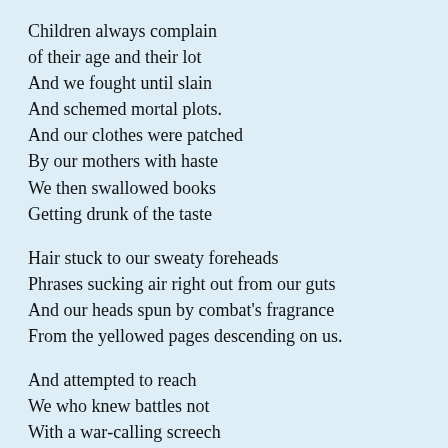Children always complain
of their age and their lot
And we fought until slain
And schemed mortal plots.
And our clothes were patched
By our mothers with haste
We then swallowed books
Getting drunk of the taste
Hair stuck to our sweaty foreheads
Phrases sucking air right out from our guts
And our heads spun by combat's fragrance
From the yellowed pages descending on us.
And attempted to reach
We who knew battles not
With a war-calling screech
Giving it all we got
Secret orders were passed
Borders suddenly sprang
What it means to attack
And war chariots clang